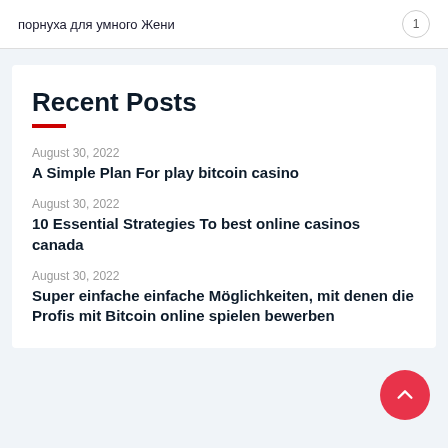порнуха для умного Жени  1
Recent Posts
August 30, 2022
A Simple Plan For play bitcoin casino
August 30, 2022
10 Essential Strategies To best online casinos canada
August 30, 2022
Super einfache einfache Möglichkeiten, mit denen die Profis mit Bitcoin online spielen bewerben